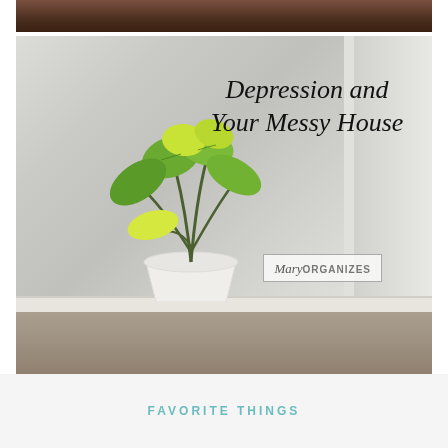[Figure (photo): Top strip showing partial image with dark brown background, cropped at top of page]
[Figure (illustration): Photo of a green potted plant (philodendron or similar) in a white pot on a windowsill, with text overlay reading 'Depression and Your Messy House' in cursive script, and a 'Mary ORGANIZES' logo badge]
FAVORITE THINGS